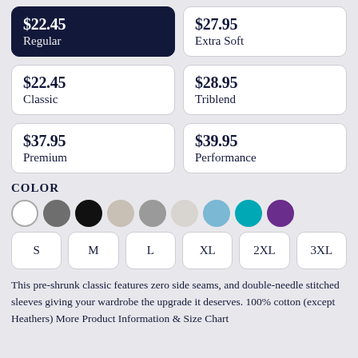$22.45 Regular
$27.95 Extra Soft
$22.45 Classic
$28.95 Triblend
$37.95 Premium
$39.95 Performance
COLOR
[Figure (infographic): Nine color swatches: white, dark gray, black, beige, medium gray, light gray, sky blue, teal, purple]
S  M  L  XL  2XL  3XL
This pre-shrunk classic features zero side seams, and double-needle stitched sleeves giving your wardrobe the upgrade it deserves. 100% cotton (except Heathers) More Product Information & Size Chart